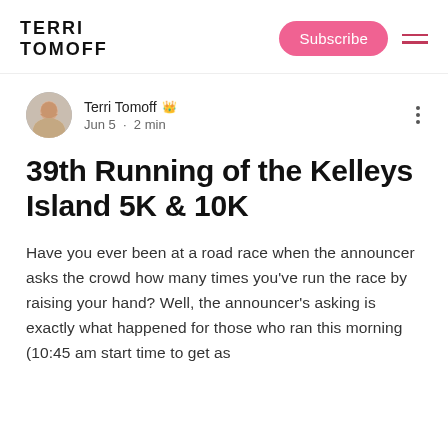TERRI TOMOFF
Terri Tomoff 👑
Jun 5 · 2 min
39th Running of the Kelleys Island 5K & 10K
Have you ever been at a road race when the announcer asks the crowd how many times you've run the race by raising your hand? Well, the announcer's asking is exactly what happened for those who ran this morning (10:45 am start time to get as